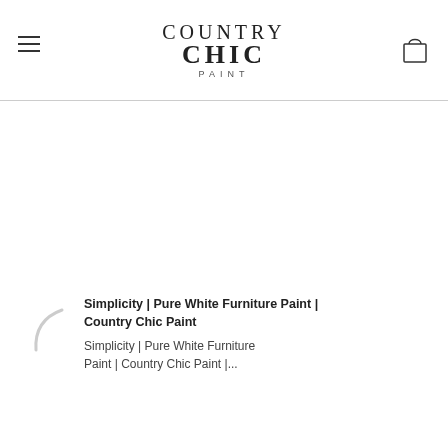[Figure (logo): Country Chic Paint logo with hamburger menu on left and shopping bag icon on right]
Simplicity | Pure White Furniture Paint | Country Chic Paint
Simplicity | Pure White Furniture Paint | Country Chic Paint |...
[Figure (photo): Color swatch image showing mint green paint strips labeled Mint To Be]
Mix It Up! Paint Color Mixing Recipes by Country Chic Paint | Mint To Be - Mint Green
Mix It Up! Paint Color